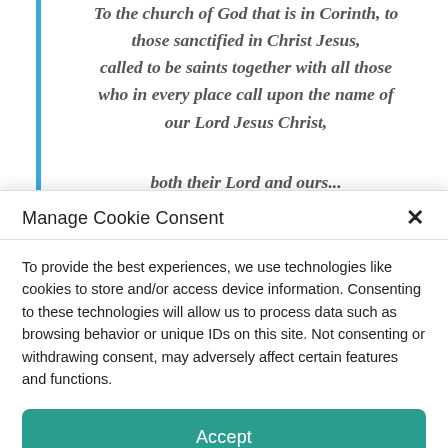To the church of God that is in Corinth, to those sanctified in Christ Jesus, called to be saints together with all those who in every place call upon the name of our Lord Jesus Christ, both their Lord and ours...
Manage Cookie Consent
To provide the best experiences, we use technologies like cookies to store and/or access device information. Consenting to these technologies will allow us to process data such as browsing behavior or unique IDs on this site. Not consenting or withdrawing consent, may adversely affect certain features and functions.
Accept
Opt-out preferences